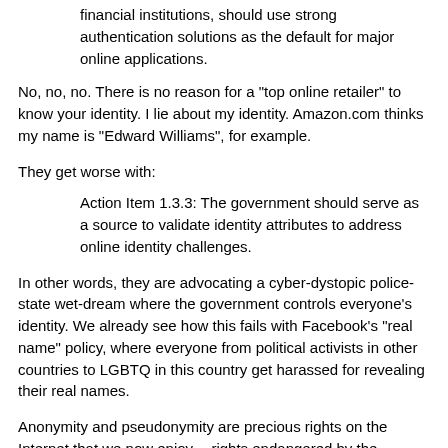financial institutions, should use strong authentication solutions as the default for major online applications.
No, no, no. There is no reason for a "top online retailer" to know your identity. I lie about my identity. Amazon.com thinks my name is "Edward Williams", for example.
They get worse with:
Action Item 1.3.3: The government should serve as a source to validate identity attributes to address online identity challenges.
In other words, they are advocating a cyber-dystopic police-state wet-dream where the government controls everyone's identity. We already see how this fails with Facebook's "real name" policy, where everyone from political activists in other countries to LGBTQ in this country get harassed for revealing their real names.
Anonymity and pseudonymity are precious rights on the Internet that we now enjoy -- rights endangered by the